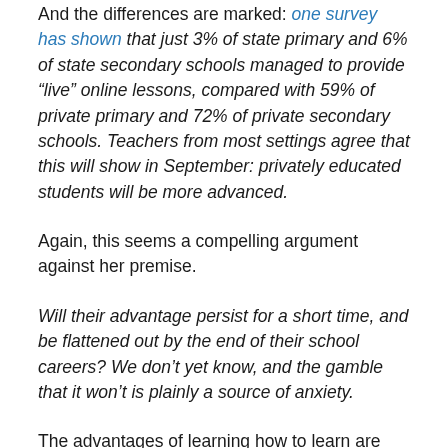And the differences are marked: one survey has shown that just 3% of state primary and 6% of state secondary schools managed to provide “live” online lessons, compared with 59% of private primary and 72% of private secondary schools. Teachers from most settings agree that this will show in September: privately educated students will be more advanced.
Again, this seems a compelling argument against her premise.
Will their advantage persist for a short time, and be flattened out by the end of their school careers? We don’t yet know, and the gamble that it won’t is plainly a source of anxiety.
The advantages of learning how to learn are lifelong. Rote learning provides only a very short term advantage. State